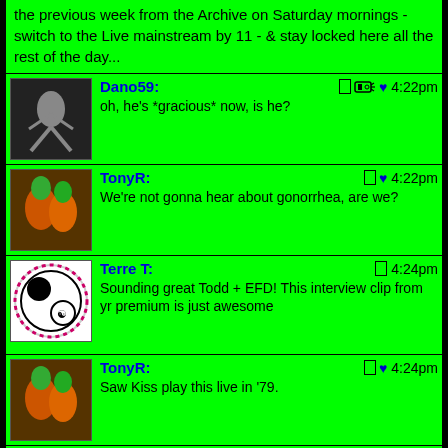the previous week from the Archive on Saturday mornings - switch to the Live mainstream by 11 - & stay locked here all the rest of the day...
Dano59: oh, he's *gracious* now, is he? 4:22pm
TonyR: We're not gonna hear about gonorrhea, are we? 4:22pm
Terre T: Sounding great Todd + EFD! This interview clip from yr premium is just awesome 4:24pm
TonyR: Saw Kiss play this live in '79. 4:24pm
YETI BOB: Grooooooooooove! 4:25pm
ratso: I believe! 4:25pm
Jeff formerly from Rahway: 4:25pm